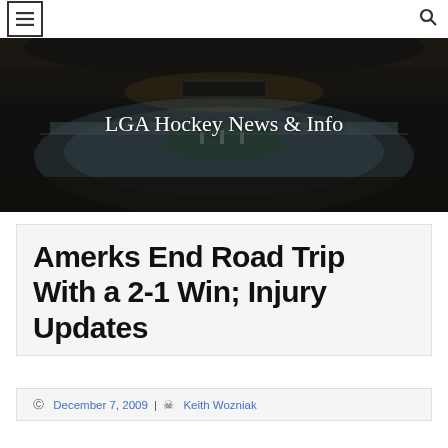☰ [menu] | 🔍 [search]
[Figure (photo): Hockey arena banner image with LGA Hockey News & Info text overlay, showing an ice rink with crowd in a darkened arena]
Amerks End Road Trip With a 2-1 Win; Injury Updates
December 7, 2009 | Keith Wozniak